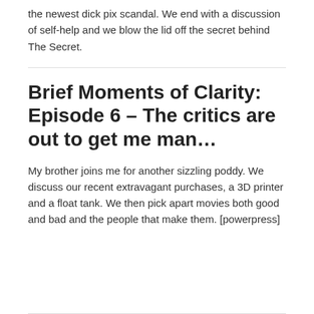the newest dick pix scandal. We end with a discussion of self-help and we blow the lid off the secret behind The Secret.
Brief Moments of Clarity: Episode 6 – The critics are out to get me man…
My brother joins me for another sizzling poddy. We discuss our recent extravagant purchases, a 3D printer and a float tank. We then pick apart movies both good and bad and the people that make them. [powerpress]